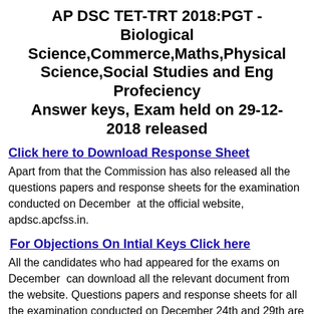AP DSC TET-TRT 2018:PGT - Biological Science,Commerce,Maths,Physical Science,Social Studies and Eng Profeciency Answer keys, Exam held on 29-12-2018 released
Click here to Download Response Sheet
Apart from that the Commission has also released all the questions papers and response sheets for the examination conducted on December  at the official website, apdsc.apcfss.in.
For Objections On Intial Keys Click here
All the candidates who had appeared for the exams on December  can download all the relevant document from the website. Questions papers and response sheets for all the examination conducted on December 24th and 29th are available. Answer keys for above mentioned